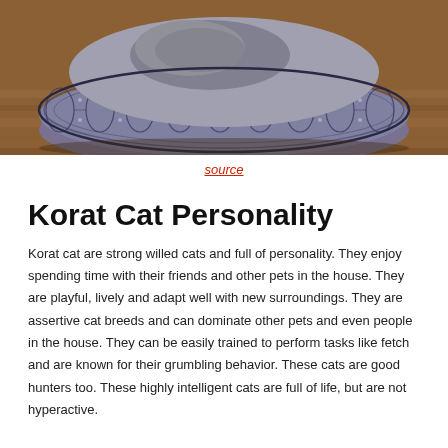[Figure (photo): A cat resting in a round decorative pet bed with a grey geometric pattern, placed on a wooden floor. Only the bottom portion of the cat and bed are visible.]
source
Korat Cat Personality
Korat cat are strong willed cats and full of personality. They enjoy spending time with their friends and other pets in the house. They are playful, lively and adapt well with new surroundings. They are assertive cat breeds and can dominate other pets and even people in the house. They can be easily trained to perform tasks like fetch and are known for their grumbling behavior. These cats are good hunters too. These highly intelligent cats are full of life, but are not hyperactive.